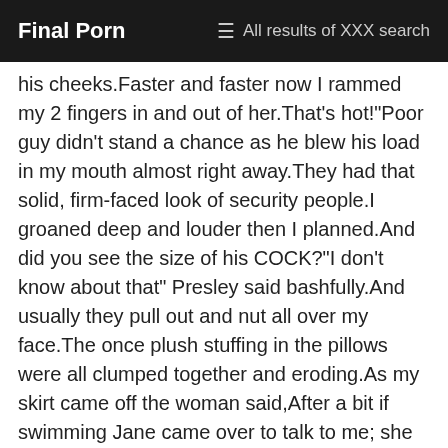Final Porn | All results of XXX search
his cheeks.Faster and faster now I rammed my 2 fingers in and out of her.That's hot!"Poor guy didn't stand a chance as he blew his load in my mouth almost right away.They had that solid, firm-faced look of security people.I groaned deep and louder then I planned.And did you see the size of his COCK?"I don't know about that" Presley said bashfully.And usually they pull out and nut all over my face.The once plush stuffing in the pillows were all clumped together and eroding.As my skirt came off the woman said,After a bit if swimming Jane came over to talk to me; she told me that the owners of the hotel were on a 4 week holiday at a naturist resort in the Caribbean, which was why they didn't mind her skinny dipping.Savannah seemed to share my opinion on them as she reached up and grabbed them, taking one of Cherri's hard nipples